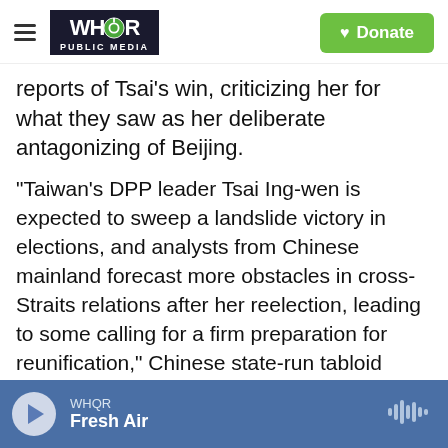WHQR PUBLIC MEDIA | Donate
reports of Tsai's win, criticizing her for what they saw as her deliberate antagonizing of Beijing.
"Taiwan's DPP leader Tsai Ing-wen is expected to sweep a landslide victory in elections, and analysts from Chinese mainland forecast more obstacles in cross-Straits relations after her reelection, leading to some calling for a firm preparation for reunification," Chinese state-run tabloid Global Times tweeted, just minutes after Tsai officially declared victory.
In her next four years in office, Sullivan said, Tsai will have to delicately balance growing calls for
WHQR | Fresh Air